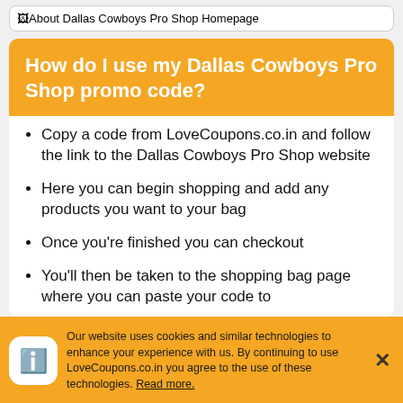[Figure (screenshot): Broken image placeholder labeled 'About Dallas Cowboys Pro Shop Homepage']
How do I use my Dallas Cowboys Pro Shop promo code?
Copy a code from LoveCoupons.co.in and follow the link to the Dallas Cowboys Pro Shop website
Here you can begin shopping and add any products you want to your bag
Once you're finished you can checkout
You'll then be taken to the shopping bag page where you can paste your code to
Our website uses cookies and similar technologies to enhance your experience with us. By continuing to use LoveCoupons.co.in you agree to the use of these technologies. Read more.